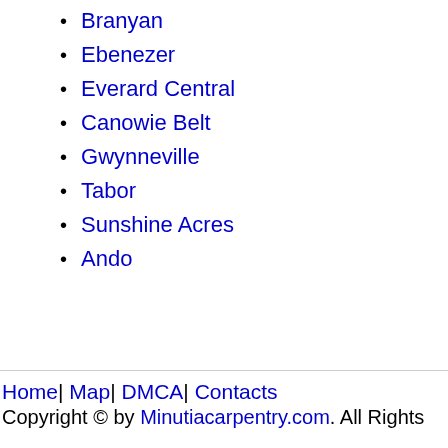Branyan
Ebenezer
Everard Central
Canowie Belt
Gwynneville
Tabor
Sunshine Acres
Ando
Home| Map| DMCA| Contacts
Copyright © by Minutiacarpentry.com. All Rights